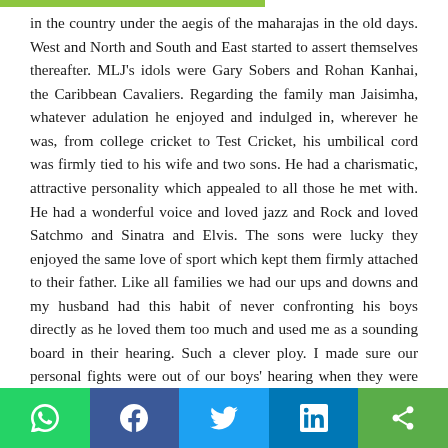in the country under the aegis of the maharajas in the old days. West and North and South and East started to assert themselves thereafter. MLJ's idols were Gary Sobers and Rohan Kanhai, the Caribbean Cavaliers. Regarding the family man Jaisimha, whatever adulation he enjoyed and indulged in, wherever he was, from college cricket to Test Cricket, his umbilical cord was firmly tied to his wife and two sons. He had a charismatic, attractive personality which appealed to all those he met with. He had a wonderful voice and loved jazz and Rock and loved Satchmo and Sinatra and Elvis. The sons were lucky they enjoyed the same love of sport which kept them firmly attached to their father. Like all families we had our ups and downs and my husband had this habit of never confronting his boys directly as he loved them too much and used me as a sounding board in their hearing. Such a clever ploy. I made sure our personal fights were out of our boys' hearing when they were growing up and behind locked doors especially when he was 'spirited'. That is all you will be told Appy. That's enough for now and you can spend time reading
Social share buttons: WhatsApp, Facebook, Twitter, LinkedIn, Share